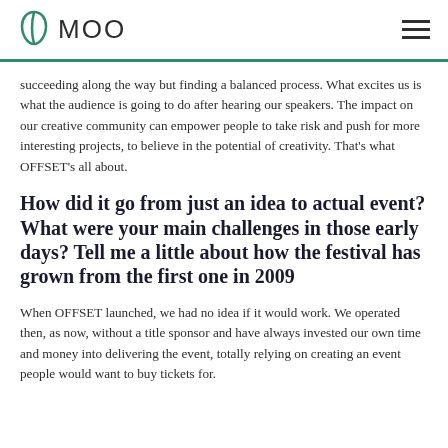MOO
succeeding along the way but finding a balanced process. What excites us is what the audience is going to do after hearing our speakers. The impact on our creative community can empower people to take risk and push for more interesting projects, to believe in the potential of creativity. That's what OFFSET's all about.
How did it go from just an idea to actual event? What were your main challenges in those early days? Tell me a little about how the festival has grown from the first one in 2009
When OFFSET launched, we had no idea if it would work. We operated then, as now, without a title sponsor and have always invested our own time and money into delivering the event, totally relying on creating an event people would want to buy tickets for.